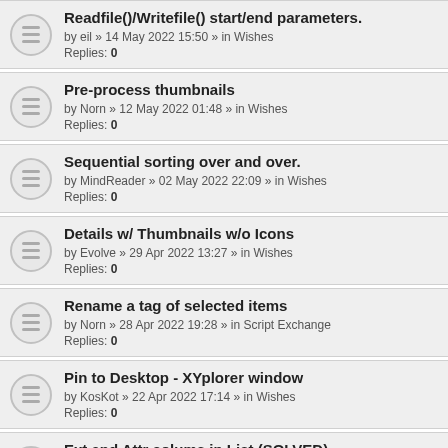Readfile()/Writefile() start/end parameters.
by eil » 14 May 2022 15:50 » in Wishes
Replies: 0
Pre-process thumbnails
by Norn » 12 May 2022 01:48 » in Wishes
Replies: 0
Sequential sorting over and over.
by MindReader » 02 May 2022 22:09 » in Wishes
Replies: 0
Details w/ Thumbnails w/o Icons
by Evolve » 29 Apr 2022 13:27 » in Wishes
Replies: 0
Rename a tag of selected items
by Norn » 28 Apr 2022 19:28 » in Script Exchange
Replies: 0
Pin to Desktop - XYplorer window
by KosKot » 22 Apr 2022 17:14 » in Wishes
Replies: 0
Ext and Attr colums in List (SOLVED)
by XY fan » 20 Apr 2022 13:00 » in Tips & Tricks, Questions & Answers